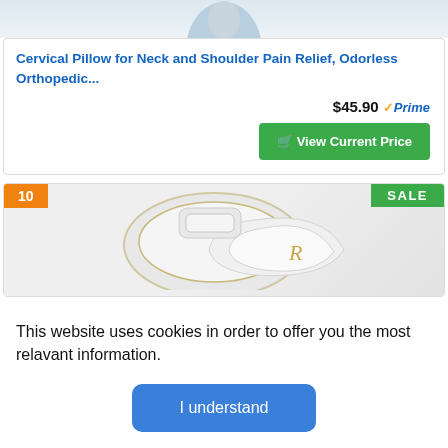[Figure (photo): Partial view of a person, cropped at top of card]
Cervical Pillow for Neck and Shoulder Pain Relief, Odorless Orthopedic...
$45.90 ✓Prime
🛒 View Current Price
[Figure (photo): Product image of a white cervical/orthopedic pillow with gold trim, partially visible]
This website uses cookies in order to offer you the most relavant information.
I understand